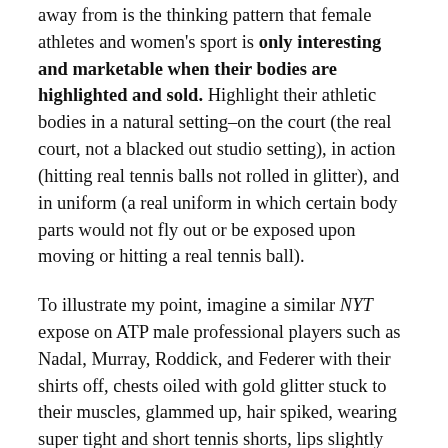away from is the thinking pattern that female athletes and women's sport is only interesting and marketable when their bodies are highlighted and sold. Highlight their athletic bodies in a natural setting–on the court (the real court, not a blacked out studio setting), in action (hitting real tennis balls not rolled in glitter), and in uniform (a real uniform in which certain body parts would not fly out or be exposed upon moving or hitting a real tennis ball).
To illustrate my point, imagine a similar NYT expose on ATP male professional players such as Nadal, Murray, Roddick, and Federer with their shirts off, chests oiled with gold glitter stuck to their muscles, glammed up, hair spiked, wearing super tight and short tennis shorts, lips slightly parted, hitting balls rolled in chalk or glitter to the same music. Wouldn't that seem weird?
I invite further dialogue and counter arguments to this